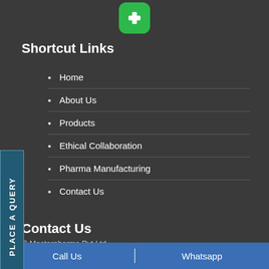[Figure (logo): Green rounded square icon with a white medical cross/plus symbol]
Shortcut Links
Home
About Us
Products
Ethical Collaboration
Pharma Manufacturing
Contact Us
Contact Us
© Masterpharma Pvt Ltd
Call Us  |  Whatsapp